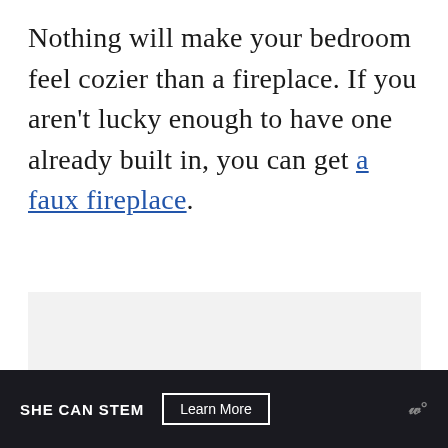Nothing will make your bedroom feel cozier than a fireplace. If you aren't lucky enough to have one already built in, you can get a faux fireplace.
[Figure (other): Gray placeholder advertisement area]
[Figure (infographic): Dark advertisement banner reading SHE CAN STEM with a Learn More button and a small logo on the right]